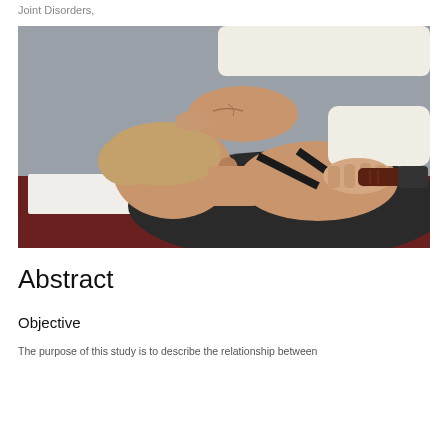Joint Disorders,
[Figure (photo): A patient lying face-down on a treatment table with head turned to the side. A practitioner's hands are visible applying a device (appears to be an ultrasound or injection instrument) to the patient's neck/jaw area near the ear. The patient is wearing a black top. A white paper sheet is on the table beneath the patient.]
Abstract
Objective
The purpose of this study is to describe the relationship between...